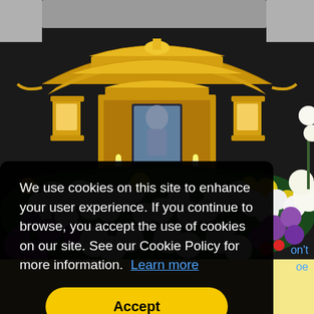[Figure (photo): Japanese Buddhist funeral altar with ornate golden decorative structure, surrounded by elaborate floral arrangements including white chrysanthemums, purple orchids, yellow flowers, and lilies. A portrait photo is visible in the center of the altar.]
We use cookies on this site to enhance your user experience. If you continue to browse, you accept the use of cookies on our site. See our Cookie Policy for more information. Learn more
Accept
on't
oe